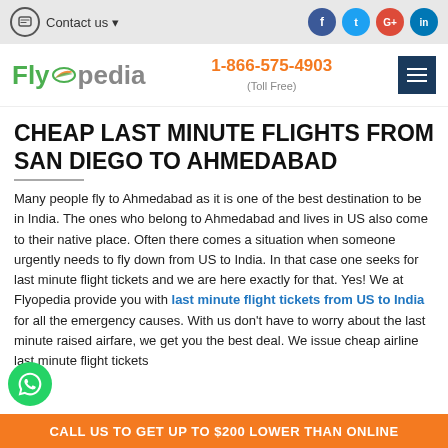Contact us   f  t  G+  in
[Figure (logo): Flyopedia logo with green Fly text and grey pedia text, phone number 1-866-575-4903 (Toll Free) in orange, and dark blue hamburger menu button]
CHEAP LAST MINUTE FLIGHTS FROM SAN DIEGO TO AHMEDABAD
Many people fly to Ahmedabad as it is one of the best destination to be in India. The ones who belong to Ahmedabad and lives in US also come to their native place. Often there comes a situation when someone urgently needs to fly down from US to India. In that case one seeks for last minute flight tickets and we are here exactly for that. Yes! We at Flyopedia provide you with last minute flight tickets from US to India for all the emergency causes. With us don't have to worry about the last minute raised airfare, we get you the best deal. We issue cheap airline last minute flight tickets
CALL US TO GET UP TO $200 LOWER THAN ONLINE